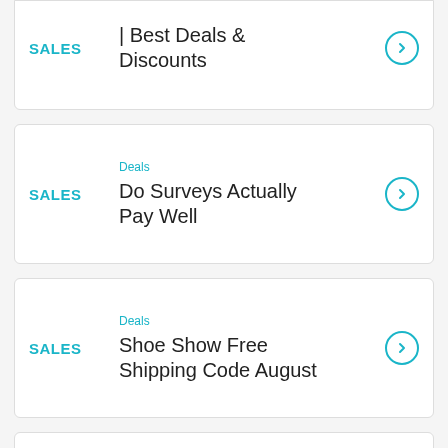SALES | Best Deals & Discounts
Deals | Do Surveys Actually Pay Well
Deals | Shoe Show Free Shipping Code August